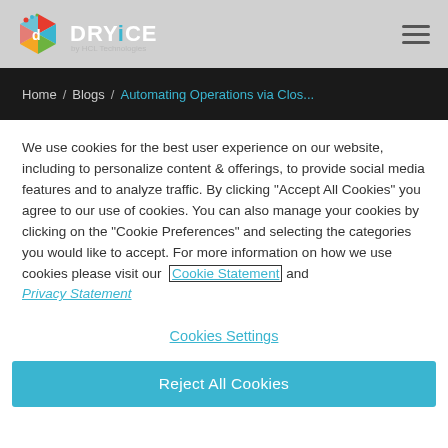DRYiCE by HCL Technologies — Navigation header with logo and hamburger menu
Home / Blogs / Automating Operations via Clos...
We use cookies for the best user experience on our website, including to personalize content & offerings, to provide social media features and to analyze traffic. By clicking "Accept All Cookies" you agree to our use of cookies. You can also manage your cookies by clicking on the "Cookie Preferences" and selecting the categories you would like to accept. For more information on how we use cookies please visit our Cookie Statement and Privacy Statement
Cookies Settings
Reject All Cookies